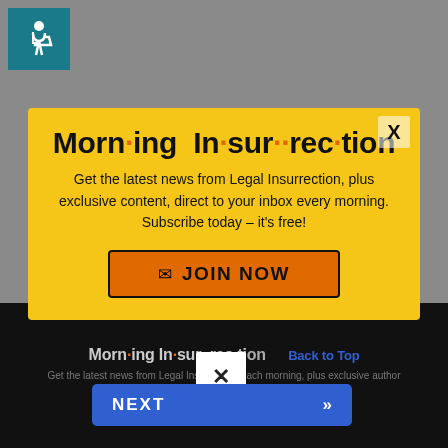[Figure (logo): Accessibility icon: wheelchair symbol white on teal background]
Morn·ing In·sur·rec·tion
Get the latest news from Legal Insurrection, plus exclusive content, direct to your inbox every morning. Subscribe today – it's free!
JOIN NOW
Morn·ing In·sur·rec·tion
Get the latest news from Legal Insurrection each morning, plus exclusive content. Author Quick Hits!